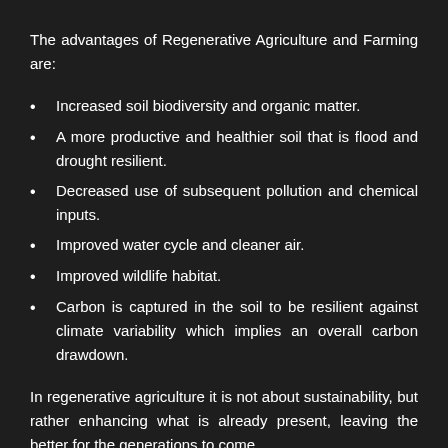The advantages of Regenerative Agriculture and Farming are:
Increased soil biodiversity and organic matter.
A more productive and healthier soil that is flood and drought resilient.
Decreased use of subsequent pollution and chemical inputs.
Improved water cycle and cleaner air.
Improved wildlife habitat.
Carbon is captured in the soil to be resilient against climate variability which implies an overall carbon drawdown.
In regenerative agriculture it is not about sustainability, but rather enhancing what is already present, leaving the better for the generations to come.